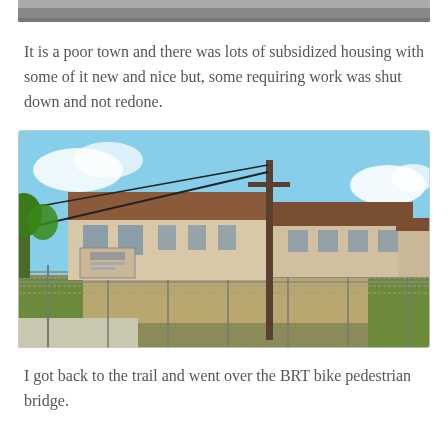[Figure (photo): Top portion of a partially visible photograph, cropped at the top edge of the page.]
It is a poor town and there was lots of subsidized housing with some of it new and nice but, some requiring work was shut down and not redone.
[Figure (photo): Outdoor photograph showing a subsidized housing complex — a two-story building with brown roofs behind a chain-link fence, a utility pole with wires in the foreground, blue sky with some clouds, and green grass/dirt lot in front.]
I got back to the trail and went over the BRT bike pedestrian bridge.